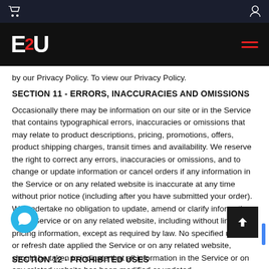E2U navigation bar with logo and hamburger menu
by our Privacy Policy. To view our Privacy Policy.
SECTION 11 - ERRORS, INACCURACIES AND OMISSIONS
Occasionally there may be information on our site or in the Service that contains typographical errors, inaccuracies or omissions that may relate to product descriptions, pricing, promotions, offers, product shipping charges, transit times and availability. We reserve the right to correct any errors, inaccuracies or omissions, and to change or update information or cancel orders if any information in the Service or on any related website is inaccurate at any time without prior notice (including after you have submitted your order). We undertake no obligation to update, amend or clarify information in the Service or on any related website, including without limitation, pricing information, except as required by law. No specified update or refresh date applied the Service or on any related website, should be taken to indicate that all information in the Service or on any related website has been modified or updated.
SECTION 12 - PROHIBITED USES